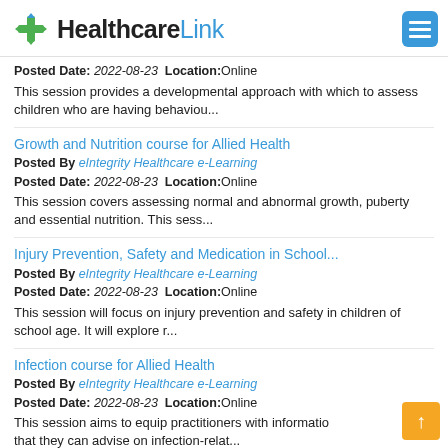HealthcareLink
Posted Date: 2022-08-23  Location:Online
This session provides a developmental approach with which to assess children who are having behaviou...
Growth and Nutrition course for Allied Health
Posted By eIntegrity Healthcare e-Learning
Posted Date: 2022-08-23  Location:Online
This session covers assessing normal and abnormal growth, puberty and essential nutrition. This sess...
Injury Prevention, Safety and Medication in School...
Posted By eIntegrity Healthcare e-Learning
Posted Date: 2022-08-23  Location:Online
This session will focus on injury prevention and safety in children of school age. It will explore r...
Infection course for Allied Health
Posted By eIntegrity Healthcare e-Learning
Posted Date: 2022-08-23  Location:Online
This session aims to equip practitioners with information that they can advise on infection-relat...